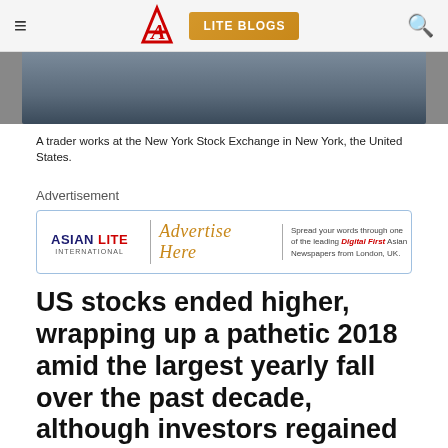Asian Lite — LITE BLOGS
[Figure (photo): A trader works at the New York Stock Exchange in New York, the United States.]
A trader works at the New York Stock Exchange in New York, the United States.
Advertisement
[Figure (other): Asian Lite International advertisement banner — Advertise Here. Spread your words through one of the leading Digital First Asian Newspapers from London, UK.]
US stocks ended higher, wrapping up a pathetic 2018 amid the largest yearly fall over the past decade, although investors regained some optimism over the prospect of global trade in the year ahead...reports Asian Lite